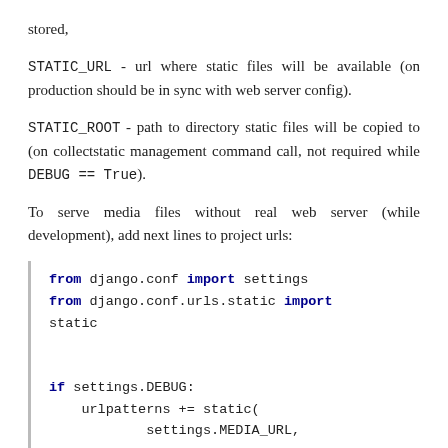stored,
STATIC_URL - url where static files will be available (on production should be in sync with web server config).
STATIC_ROOT - path to directory static files will be copied to (on collectstatic management command call, not required while DEBUG == True).
To serve media files without real web server (while development), add next lines to project urls:
[Figure (other): Code block showing Django Python imports and URL configuration: from django.conf import settings, from django.conf.urls.static import static, if settings.DEBUG: urlpatterns += static(settings.MEDIA_URL,]